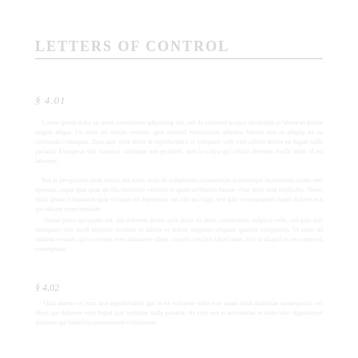LETTERS OF CONTROL
§ 4.01
§ 4.02